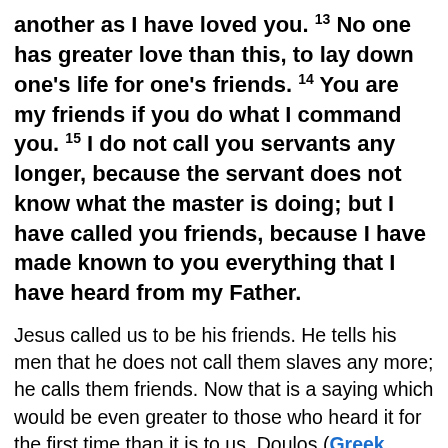another as I have loved you. 13 No one has greater love than this, to lay down one's life for one's friends. 14 You are my friends if you do what I command you. 15 I do not call you servants any longer, because the servant does not know what the master is doing; but I have called you friends, because I have made known to you everything that I have heard from my Father.
Jesus called us to be his friends. He tells his men that he does not call them slaves any more; he calls them friends. Now that is a saying which would be even greater to those who heard it for the first time than it is to us. Doulos (Greek #1401), the slave, the servant of God was no title of shame; it was a title of the highest honour. Moses was the doulos of God (Deuteronomy 34:5); so was Joshua (Joshua 24:29); so was David (Psalms 89:20). It is a title which Paul accepted his own name too (Titus 1:1) and